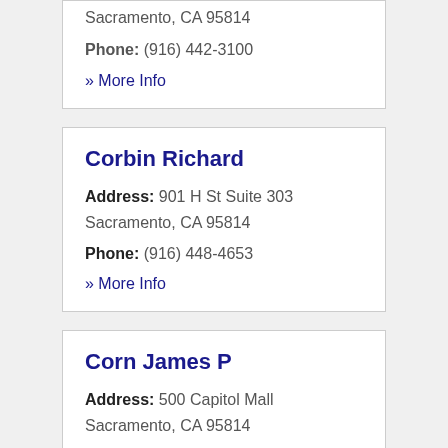Sacramento, CA 95814
Phone: (916) 442-3100
» More Info
Corbin Richard
Address: 901 H St Suite 303 Sacramento, CA 95814
Phone: (916) 448-4653
» More Info
Corn James P
Address: 500 Capitol Mall Sacramento, CA 95814
Phone: (916) 447-0700